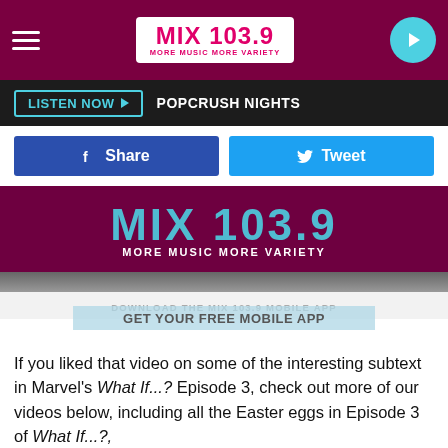MIX 103.9 MORE MUSIC MORE VARIETY
LISTEN NOW ▶ POPCRUSH NIGHTS
f Share   Tweet
[Figure (screenshot): MIX 103.9 MORE MUSIC MORE VARIETY logo on dark maroon background, video thumbnail]
DOWNLOAD THE MIX 103.9 MOBILE APP
If you liked that video on some of the interesting subtext in Marvel's What If...? Episode 3, check out more of our videos below, including all the Easter eggs in Episode 3 of What If...?,
all the Easter Eggs in What If…? Episode 2, and the way What If...? has introduced the potential villain of Doctor Strange 2. Plus, there's tons more over at ScreenCrush's YouTube